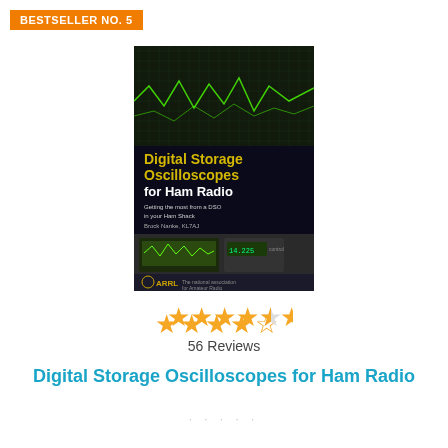BESTSELLER NO. 5
[Figure (illustration): Book cover of 'Digital Storage Oscilloscopes for Ham Radio' — black background with green text title, yellow subtitle text, photo of oscilloscope and ham radio equipment, ARRL logo at bottom]
★★★★½
56 Reviews
Digital Storage Oscilloscopes for Ham Radio
· · · · ·